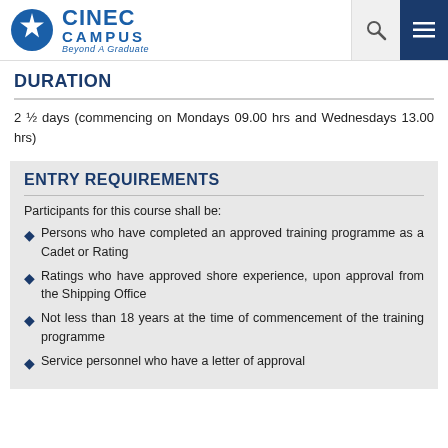CINEC CAMPUS Beyond A Graduate
DURATION
2 ½ days (commencing on Mondays 09.00 hrs and Wednesdays 13.00 hrs)
ENTRY REQUIREMENTS
Participants for this course shall be:
Persons who have completed an approved training programme as a Cadet or Rating
Ratings who have approved shore experience, upon approval from the Shipping Office
Not less than 18 years at the time of commencement of the training programme
Service personnel who have a letter of approval